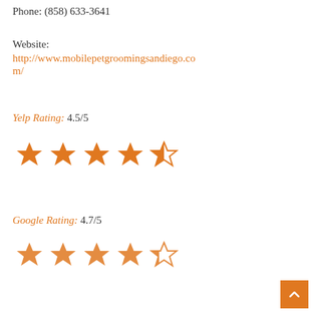Phone: (858) 633-3641
Website:
http://www.mobilepetgroomingsandiego.com/
Yelp Rating: 4.5/5
[Figure (other): 4.5 out of 5 stars rating shown as 4 full orange stars and 1 half orange star]
Google Rating: 4.7/5
[Figure (other): 4.7 out of 5 stars rating shown as 4 full orange stars and 1 partial orange star (slightly blurred/faded)]